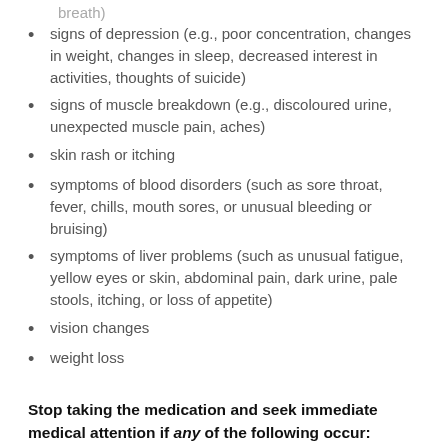breath)
signs of depression (e.g., poor concentration, changes in weight, changes in sleep, decreased interest in activities, thoughts of suicide)
signs of muscle breakdown (e.g., discoloured urine, unexpected muscle pain, aches)
skin rash or itching
symptoms of blood disorders (such as sore throat, fever, chills, mouth sores, or unusual bleeding or bruising)
symptoms of liver problems (such as unusual fatigue, yellow eyes or skin, abdominal pain, dark urine, pale stools, itching, or loss of appetite)
vision changes
weight loss
Stop taking the medication and seek immediate medical attention if any of the following occur: